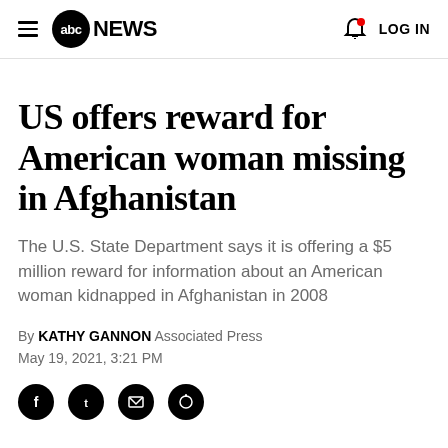abc NEWS  LOG IN
US offers reward for American woman missing in Afghanistan
The U.S. State Department says it is offering a $5 million reward for information about an American woman kidnapped in Afghanistan in 2008
By KATHY GANNON Associated Press
May 19, 2021, 3:21 PM